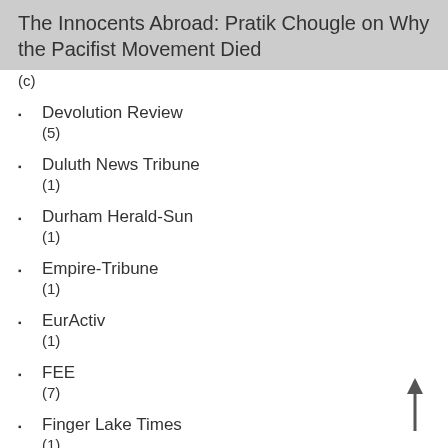The Innocents Abroad: Pratik Chougle on Why the Pacifist Movement Died
(c)
Devolution Review
(5)
Duluth News Tribune
(1)
Durham Herald-Sun
(1)
Empire-Tribune
(1)
EurActiv
(1)
FEE
(7)
Finger Lake Times
(1)